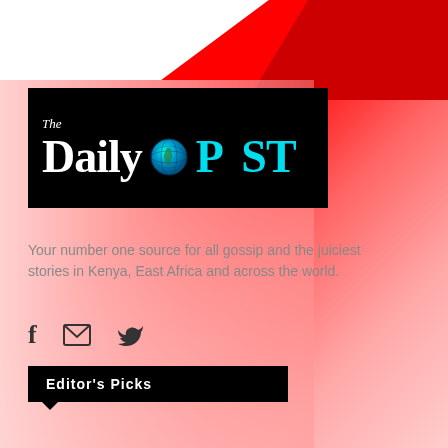[Figure (logo): The Daily POST newspaper logo on black background with globe icon replacing the O in POST]
Your number one source for all gossip and the juiciest stories in Kenya, East Africa and across the world.
[Figure (infographic): Social media icons: Facebook (f), email (envelope), Twitter (bird)]
Editor's Picks
[Figure (photo): Photo of a man (partially visible)]
Arsenal legend, THIERRY HENRY, becomes part-owner of Serie B outfit Como